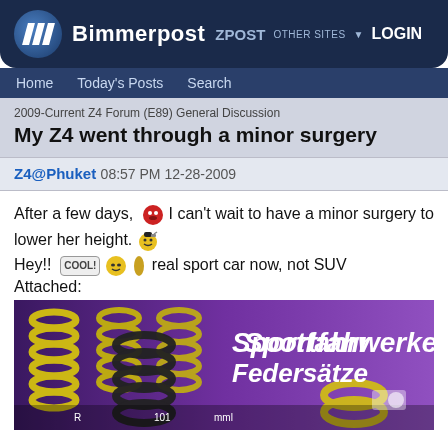Bimmerpost ZPOST OTHER SITES LOGIN
Home  Today's Posts  Search
2009-Current Z4 Forum (E89) General Discussion
My Z4 went through a minor surgery
Z4@Phuket 08:57 PM 12-28-2009
After a few days, [emoji] I can't wait to have a minor surgery to lower her height.[emoji]
Hey!! [COOL!][emoji][emoji]real sport car now, not SUV
Attached:
[Figure (photo): Photo of yellow and black coil springs on a purple background with text 'Sportfahrwerke Federsatze']